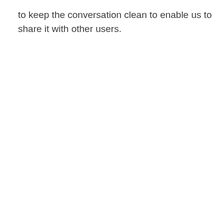to keep the conversation clean to enable us to share it with other users.